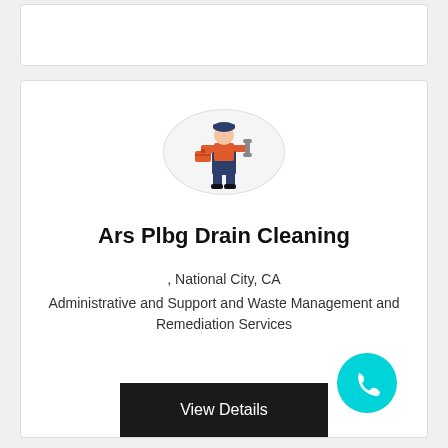[Figure (illustration): Plumber illustration inside a light gray circle: a person in orange shirt and dark overalls holding a wrench and toolbox]
Ars Plbg Drain Cleaning
, National City, CA
Administrative and Support and Waste Management and Remediation Services
View Details
[Figure (illustration): Cyan/teal circle with a white phone handset icon]